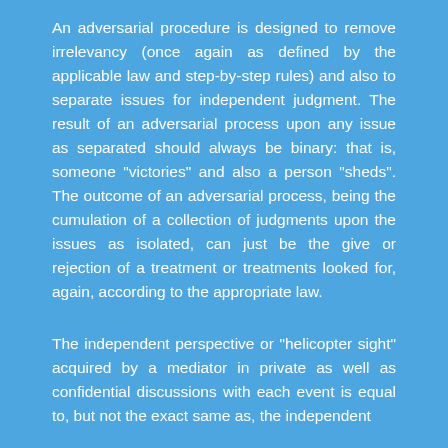An adversarial procedure is designed to remove irrelevancy (once again as defined by the applicable law and step-by-step rules) and also to separate issues for independent judgment. The result of an adversarial process upon any issue as separated should always be binary: that is, someone “victories” and also a person “sheds”. The outcome of an adversarial process, being the cumulation of a collection of judgments upon the issues as isolated, can just be the give or rejection of a treatment or treatments looked for, again, according to the appropriate law.
The independent perspective or “helicopter sight” acquired by a mediator in private as well as confidential discussions with each event is equal to, but not the exact same as, the independent